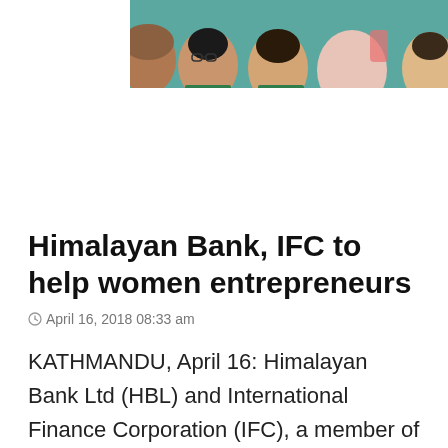[Figure (photo): Partial photo strip showing faces of several people against a teal/green background, cropped at top of page]
Himalayan Bank, IFC to help women entrepreneurs
April 16, 2018 08:33 am
KATHMANDU, April 16: Himalayan Bank Ltd (HBL) and International Finance Corporation (IFC), a member of the